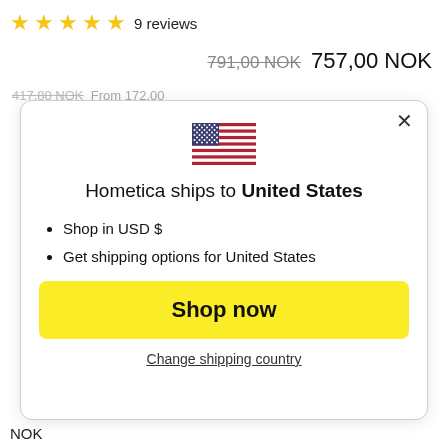★★★★★ 9 reviews
791,00 NOK  757,00 NOK
[Figure (illustration): US flag emoji centered in modal dialog]
Hometica ships to United States
Shop in USD $
Get shipping options for United States
Shop now
Change shipping country
NOK